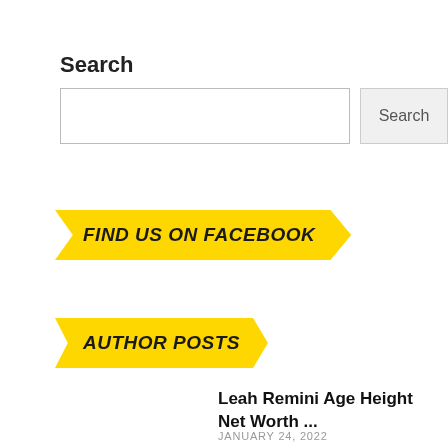Search
[Figure (screenshot): Search input box with Search button]
[Figure (infographic): Yellow banner button with text FIND US ON FACEBOOK]
[Figure (infographic): Yellow banner button with text AUTHOR POSTS]
Leah Remini Age Height Net Worth ...
JANUARY 24, 2022